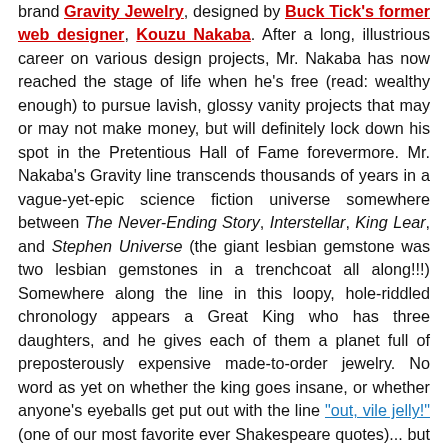brand Gravity Jewelry, designed by Buck Tick's former web designer, Kouzu Nakaba. After a long, illustrious career on various design projects, Mr. Nakaba has now reached the stage of life when he's free (read: wealthy enough) to pursue lavish, glossy vanity projects that may or may not make money, but will definitely lock down his spot in the Pretentious Hall of Fame forevermore. Mr. Nakaba's Gravity line transcends thousands of years in a vague-yet-epic science fiction universe somewhere between The Never-Ending Story, Interstellar, King Lear, and Stephen Universe (the giant lesbian gemstone was two lesbian gemstones in a trenchcoat all along!!!) Somewhere along the line in this loopy, hole-riddled chronology appears a Great King who has three daughters, and he gives each of them a planet full of preposterously expensive made-to-order jewelry. No word as yet on whether the king goes insane, or whether anyone's eyeballs get put out with the line "out, vile jelly!" (one of our most favorite ever Shakespeare quotes)... but we can always hope. Thankfully, the entire story is already written in English, sparing us the time and effort of translating it, so if you're curious, go read it here.
But what does all this have to do with Buck Ticksters, we...